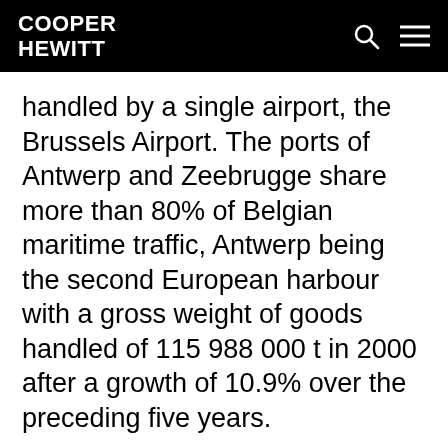COOPER HEWITT
handled by a single airport, the Brussels Airport. The ports of Antwerp and Zeebrugge share more than 80% of Belgian maritime traffic, Antwerp being the second European harbour with a gross weight of goods handled of 115 988 000 t in 2000 after a growth of 10.9% over the preceding five years.
MILITARY
The Belgian Armed Forces have about